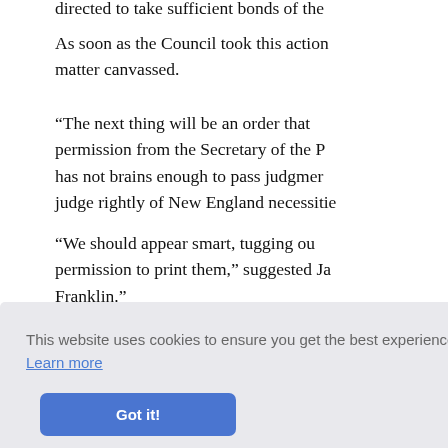directed to take sufficient bonds of the...
As soon as the Council took this action, matter canvassed.
"The next thing will be an order that permission from the Secretary of the P... has not brains enough to pass judgment... judge rightly of New England necessitie...
"We should appear smart, tugging ou... permission to print them," suggested Ja... Franklin."
[Figure (screenshot): Cookie consent banner with text 'This website uses cookies to ensure you get the best experience on our website. Learn more' and a 'Got it!' button]
...there was not the limit in the company freedom of the press.